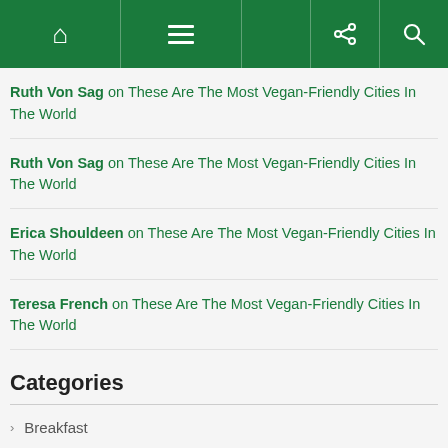Navigation bar with home, menu, share, and search icons
Ruth Von Sag on These Are The Most Vegan-Friendly Cities In The World
Ruth Von Sag on These Are The Most Vegan-Friendly Cities In The World
Erica Shouldeen on These Are The Most Vegan-Friendly Cities In The World
Teresa French on These Are The Most Vegan-Friendly Cities In The World
Categories
Breakfast
Coconut Oil
Desserts & Snacks